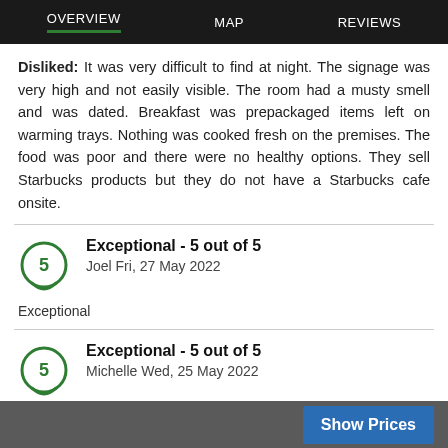OVERVIEW   MAP   REVIEWS
Disliked: It was very difficult to find at night. The signage was very high and not easily visible. The room had a musty smell and was dated. Breakfast was prepackaged items left on warming trays. Nothing was cooked fresh on the premises. The food was poor and there were no healthy options. They sell Starbucks products but they do not have a Starbucks cafe onsite.
Exceptional - 5 out of 5
Joel Fri, 27 May 2022
Exceptional
Exceptional - 5 out of 5
Michelle Wed, 25 May 2022